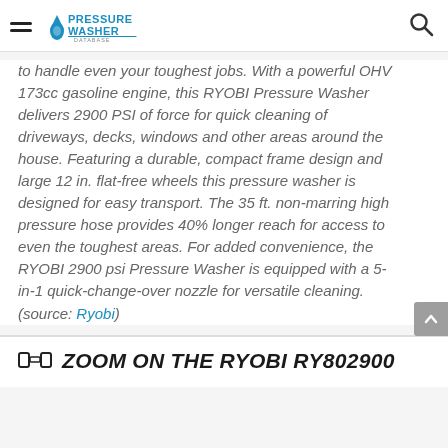Pressure Washer Database
to handle even your toughest jobs. With a powerful OHV 173cc gasoline engine, this RYOBI Pressure Washer delivers 2900 PSI of force for quick cleaning of driveways, decks, windows and other areas around the house. Featuring a durable, compact frame design and large 12 in. flat-free wheels this pressure washer is designed for easy transport. The 35 ft. non-marring high pressure hose provides 40% longer reach for access to even the toughest areas. For added convenience, the RYOBI 2900 psi Pressure Washer is equipped with a 5-in-1 quick-change-over nozzle for versatile cleaning. (source: Ryobi)
ZOOM ON THE RYOBI RY802900